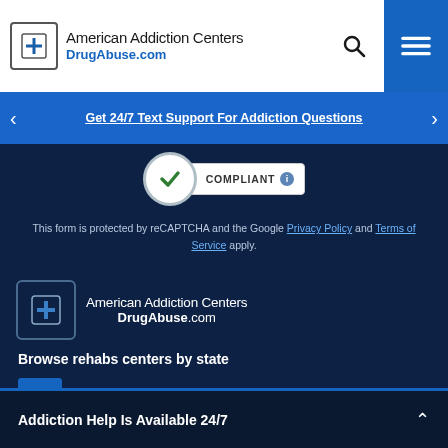American Addiction Centers DrugAbuse.com
Get 24/7 Text Support For Addiction Questions
[Figure (logo): COMPLIANT badge with green checkmark]
This form is protected by reCAPTCHA and the Google Privacy Policy and Terms of Service apply.
[Figure (logo): American Addiction Centers DrugAbuse.com footer logo]
Browse rehabs centers by state
Addiction Help Is Available 24/7